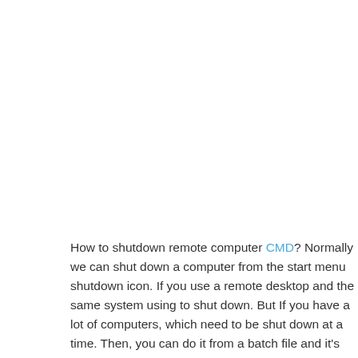How to shutdown remote computer CMD? Normally we can shut down a computer from the start menu shutdown icon. If you use a remote desktop and the same system using to shut down. But If you have a lot of computers, which need to be shut down at a time. Then, you can do it from a batch file and it's very helpful.